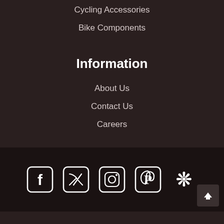Cycling Accessories
Bike Components
Information
About Us
Contact Us
Careers
[Figure (infographic): Social media icons row: Facebook, Twitter, Instagram, Pinterest, Yelp, plus a back-to-top button in the bottom-right corner]